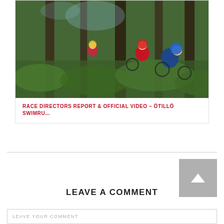[Figure (photo): Mountain bikers on a steep, lush green forest trail with tall trees and ferns]
RACE DIRECTORS REPORT & OFFICIAL VIDEO – ÖTILLÖ SWIMRU…
LEAVE A COMMENT
LEAVE YOUR COMMENT